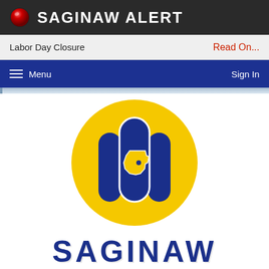SAGINAW ALERT
Labor Day Closure   Read On...
Menu   Sign In
[Figure (logo): Saginaw Texas city logo: yellow circle with dark navy blue stylized grain elevator/silos shape containing a yellow outline of the state of Texas with a star marker. Below: 'SAGINAW' in large bold navy letters with 'TEXAS' beneath in smaller navy letters.]